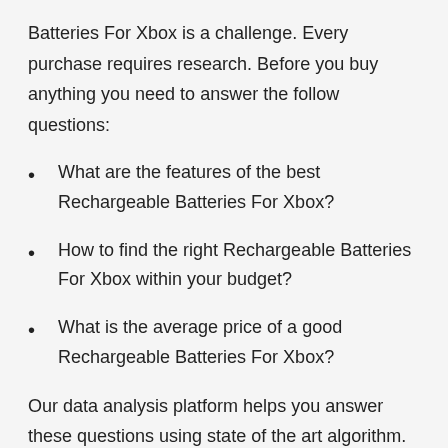Batteries For Xbox is a challenge. Every purchase requires research. Before you buy anything you need to answer the follow questions:
What are the features of the best Rechargeable Batteries For Xbox?
How to find the right Rechargeable Batteries For Xbox within your budget?
What is the average price of a good Rechargeable Batteries For Xbox?
Our data analysis platform helps you answer these questions using state of the art algorithm. We analyze thousands of reviews from real users to generate usability score for each brand. This usability score is unbiased and powered by people's experience the product. Then we provide you with